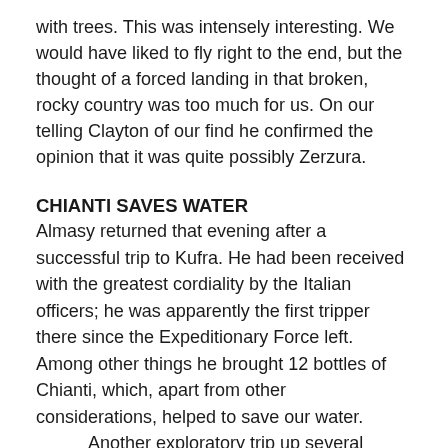with trees. This was intensely interesting. We would have liked to fly right to the end, but the thought of a forced landing in that broken, rocky country was too much for us. On our telling Clayton of our find he confirmed the opinion that it was quite possibly Zerzura.
CHIANTI SAVES WATER
Almasy returned that evening after a successful trip to Kufra. He had been received with the greatest cordiality by the Italian officers; he was apparently the first tripper there since the Expeditionary Force left. Among other things he brought 12 bottles of Chianti, which, apart from other considerations, helped to save our water.
Another exploratory trip up several wadis drew a blank, except for a solitary saizal tree and the spoor of one grazing camel about two or three years old. The country